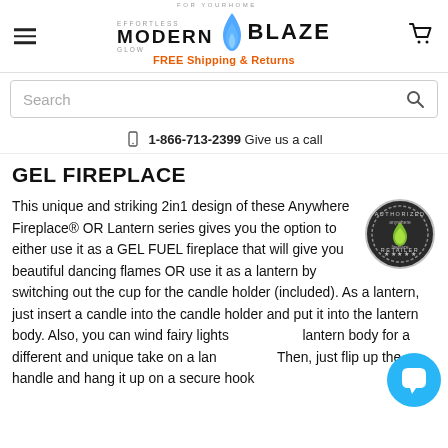Modern Blaze — For Your Home, Effortless Glow. FREE Shipping & Returns
Search
📱 1-866-713-2399 Give us a call
GEL FIREPLACE
This unique and striking 2in1 design of these Anywhere Fireplace® OR Lantern series gives you the option to either use it as a GEL FUEL fireplace that will give you beautiful dancing flames OR use it as a lantern by switching out the cup for the candle holder (included). As a lantern, just insert a candle into the candle holder and put it into the lantern body. Also, you can wind fairy lights around the lantern body for a different and unique take on a lantern look. Then, just flip up the handle and hang it up on a secure hook